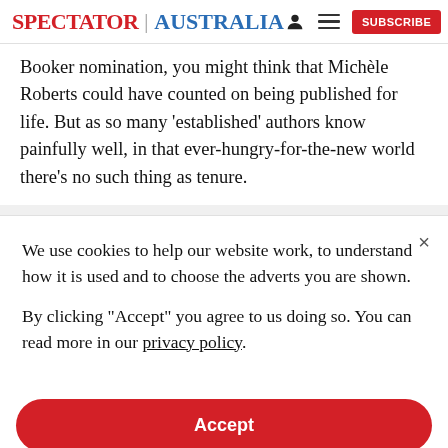SPECTATOR | AUSTRALIA
Booker nomination, you might think that Michèle Roberts could have counted on being published for life. But as so many ‘established’ authors know painfully well, in that ever-hungry-for-the-new world there’s no such thing as tenure.
We use cookies to help our website work, to understand how it is used and to choose the adverts you are shown.
By clicking "Accept" you agree to us doing so. You can read more in our privacy policy.
Accept